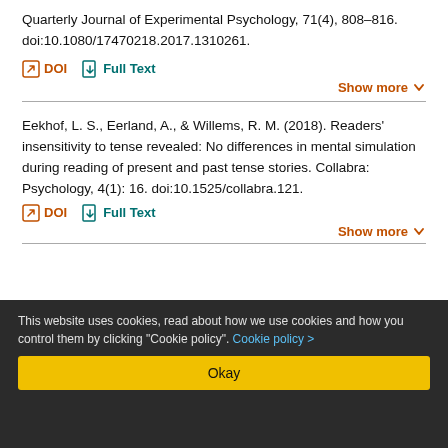Quarterly Journal of Experimental Psychology, 71(4), 808–816. doi:10.1080/17470218.2017.1310261.
DOI   Full Text
Show more
Eekhof, L. S., Eerland, A., & Willems, R. M. (2018). Readers' insensitivity to tense revealed: No differences in mental simulation during reading of present and past tense stories. Collabra: Psychology, 4(1): 16. doi:10.1525/collabra.121.
DOI   Full Text
Show more
This website uses cookies, read about how we use cookies and how you control them by clicking "Cookie policy". Cookie policy >
Okay